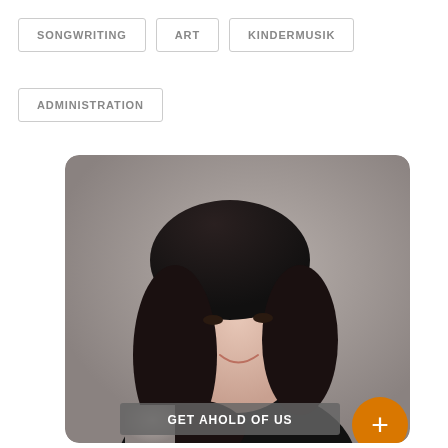SONGWRITING
ART
KINDERMUSIK
ADMINISTRATION
[Figure (photo): Professional headshot of a young Asian woman with long dark hair, smiling, wearing a black off-shoulder top, against a grey background. An overlay at the bottom reads GET AHOLD OF US, and an orange circular plus button appears at lower right.]